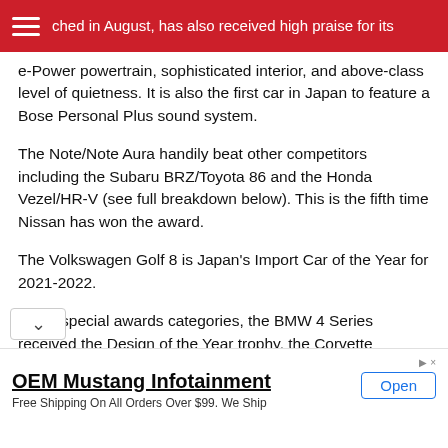ched in August, has also received high praise for its
e-Power powertrain, sophisticated interior, and above-class level of quietness. It is also the first car in Japan to feature a Bose Personal Plus sound system.
The Note/Note Aura handily beat other competitors including the Subaru BRZ/Toyota 86 and the Honda Vezel/HR-V (see full breakdown below). This is the fifth time Nissan has won the award.
The Volkswagen Golf 8 is Japan's Import Car of the Year for 2021-2022.
In the special awards categories, the BMW 4 Series received the Design of the Year trophy, the Corvette captured the Performance award, the Outlander PHEV d up the Technology of the year trophy and the
OEM Mustang Infotainment
Free Shipping On All Orders Over $99. We Ship Internationally. Overnight Available for business use.